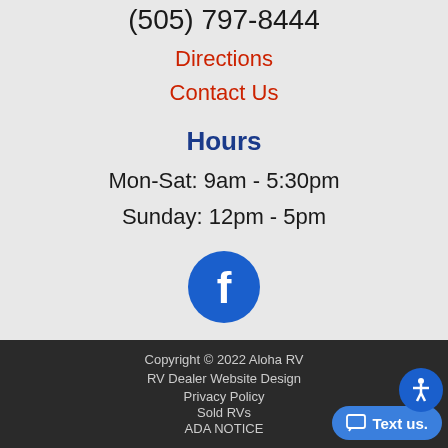(505) 797-8444
Directions
Contact Us
Hours
Mon-Sat: 9am - 5:30pm
Sunday: 12pm - 5pm
[Figure (logo): Facebook icon - blue circle with white 'f' letter]
Copyright © 2022 Aloha RV
RV Dealer Website Design
Privacy Policy
Sold RVs
ADA NOTICE